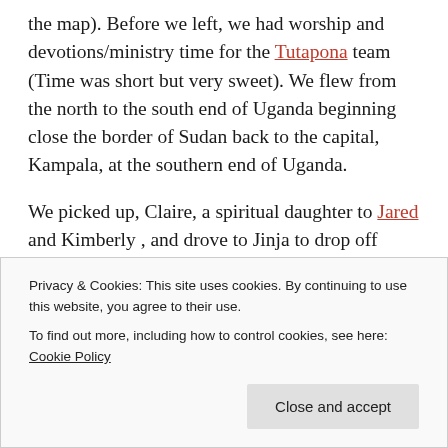the map). Before we left, we had worship and devotions/ministry time for the Tutapona team (Time was short but very sweet). We flew from the north to the south end of Uganda beginning close the border of Sudan back to the capital, Kampala, at the southern end of Uganda.
We picked up, Claire, a spiritual daughter to Jared and Kimberly , and drove to Jinja to drop off supplies to Redeemer House (orphanage Patrick partners with) and get ready for net outreach.  Then we met Patrick's sister and ran a
Privacy & Cookies: This site uses cookies. By continuing to use this website, you agree to their use.
To find out more, including how to control cookies, see here: Cookie Policy
plane – that was incorrect).